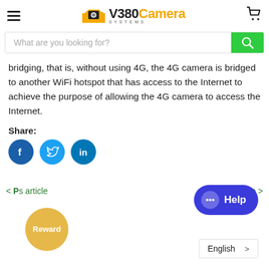[Figure (logo): V380 Camera Systems logo with orange camera icon]
[Figure (screenshot): Search bar with placeholder 'What are you looking for?' and green search button]
bridging, that is, without using 4G, the 4G camera is bridged to another WiFi hotspot that has access to the Internet to achieve the purpose of allowing the 4G camera to access the Internet.
Share:
[Figure (illustration): Social share icons: Facebook, Twitter, LinkedIn]
< Previous article
Next article >
[Figure (illustration): Reward badge (yellow circle)]
[Figure (illustration): Help chat button (blue rounded pill)]
English >